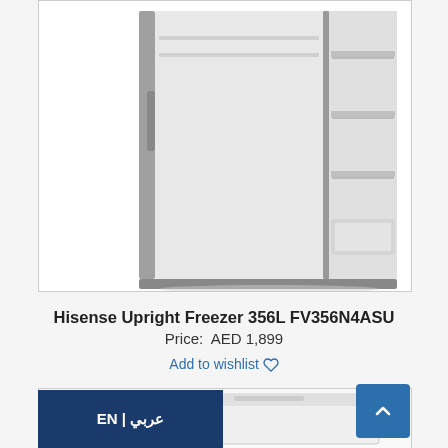[Figure (photo): Hisense upright freezer FV356N4ASU with door open showing interior shelves, stainless steel frame]
Hisense Upright Freezer 356L FV356N4ASU
Price:  AED 1,899
Add to wishlist ♡
[Figure (photo): Partial view of a chest freezer in white]
EN | عربي